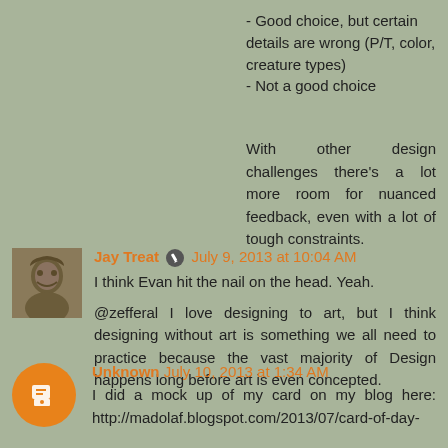- Good choice, but certain details are wrong (P/T, color, creature types)
- Not a good choice
With other design challenges there's a lot more room for nuanced feedback, even with a lot of tough constraints.
Jay Treat ✏ July 9, 2013 at 10:04 AM
I think Evan hit the nail on the head. Yeah.

@zefferal I love designing to art, but I think designing without art is something we all need to practice because the vast majority of Design happens long before art is even concepted.
Unknown July 10, 2013 at 1:34 AM
I did a mock up of my card on my blog here: http://madolaf.blogspot.com/2013/07/card-of-day-